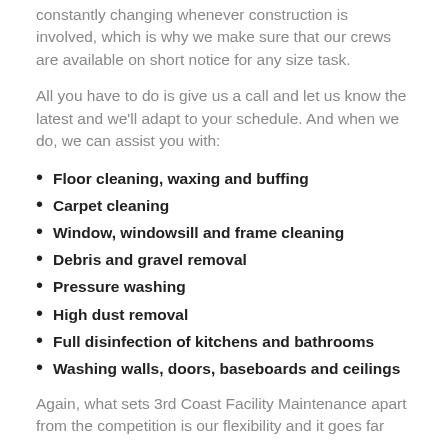constantly changing whenever construction is involved, which is why we make sure that our crews are available on short notice for any size task.
All you have to do is give us a call and let us know the latest and we'll adapt to your schedule. And when we do, we can assist you with:
Floor cleaning, waxing and buffing
Carpet cleaning
Window, windowsill and frame cleaning
Debris and gravel removal
Pressure washing
High dust removal
Full disinfection of kitchens and bathrooms
Washing walls, doors, baseboards and ceilings
Again, what sets 3rd Coast Facility Maintenance apart from the competition is our flexibility and it goes far